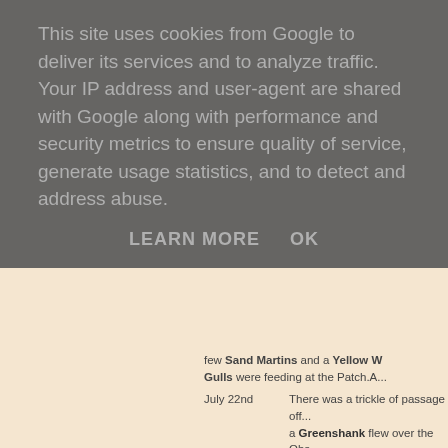This site uses cookies from Google to deliver its services and to analyze traffic. Your IP address and user-agent are shared with Google along with performance and security metrics to ensure quality of service, generate usage statistics, and to detect and address abuse.
LEARN MORE    OK
few Sand Martins and a Yellow W... Gulls were feeding at the Patch.A...
July 22nd  There was a trickle of passage off... a Greenshank flew over the Obs... Gulls were feeding offshore.On th... Observatory record.
July 23rd  During the day 300 Gannets, nin... immature Pomarine Skua was ha... and the first Great Spotted Woo...
July 24th  There was a reasonable passage... bay to feed in the afternoon. Two... juvenile Yellow-legged Gulls we... Large numbers of Swifts and San... were also good numbers of Swall... Of note amongst a large catch...